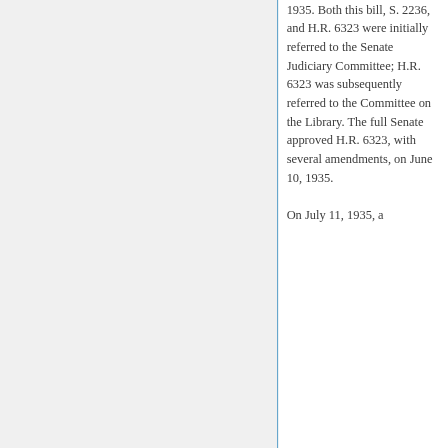1935. Both this bill, S. 2236, and H.R. 6323 were initially referred to the Senate Judiciary Committee; H.R. 6323 was subsequently referred to the Committee on the Library. The full Senate approved H.R. 6323, with several amendments, on June 10, 1935. On July 11, 1935, a